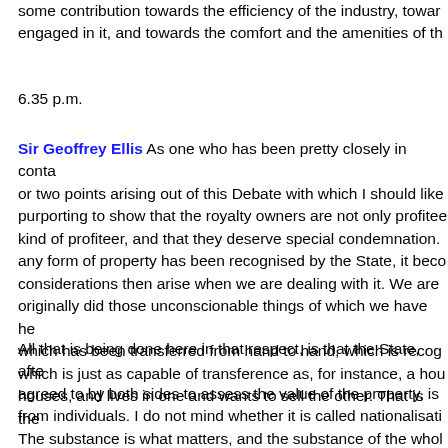some contribution towards the efficiency of the industry, towards those engaged in it, and towards the comfort and the amenities of th...
6.35 p.m.
Sir Geoffrey Ellis As one who has been pretty closely in conta... or two points arising out of this Debate with which I should like... purporting to show that the royalty owners are not only profitee... kind of profiteer, and that they deserve special condemnation.... any form of property has been recognised by the State, it beco... considerations then arise when we are dealing with it. We are ... originally did those unconscionable things of which we have he... which has been transferred from hand to hand, which is recog... which is just as capable of transference as, for instance, a hou... houses, and lives in one and wants to sell the other. That is th...
All that is being done here in that respect, is that the State, afte... agreed to by both sides to assess the value of the property, is ... from individuals. I do not mind whether it is called nationalisati... The substance is what matters, and the substance of the whol... eventually, as a single unit, so to speak, in the hands of the St...